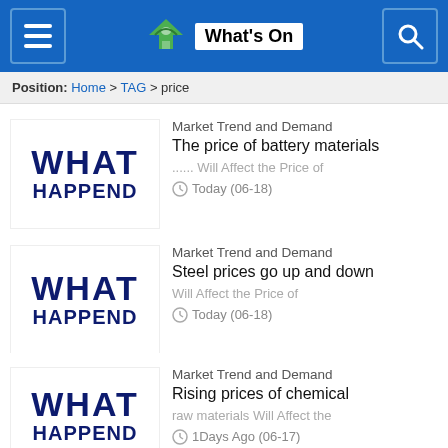What's On
Position: Home > TAG > price
[Figure (logo): WHAT HAPPENED placeholder thumbnail image]
Market Trend and Demand The price of battery materials ... Will Affect the Price of  Today (06-18)
[Figure (logo): WHAT HAPPENED placeholder thumbnail image]
Market Trend and Demand Steel prices go up and down Will Affect the Price of  Today (06-18)
[Figure (logo): WHAT HAPPENED placeholder thumbnail image]
Market Trend and Demand Rising prices of chemical raw materials Will Affect the  1Days Ago (06-17)